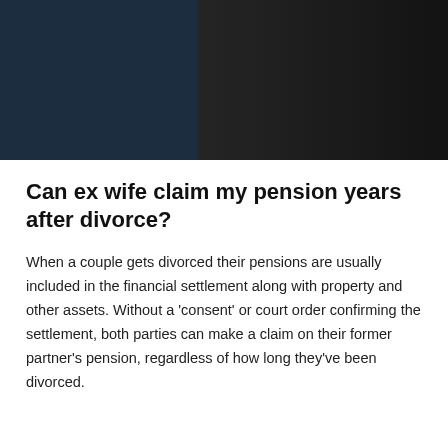[Figure (photo): Dark background photo, split two-tone: dark teal/navy on the left half and dark charcoal/black on the right half, appearing to show a couple or figures in the background.]
Can ex wife claim my pension years after divorce?
When a couple gets divorced their pensions are usually included in the financial settlement along with property and other assets. Without a 'consent' or court order confirming the settlement, both parties can make a claim on their former partner's pension, regardless of how long they've been divorced.